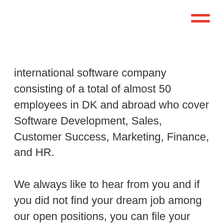[Figure (other): Hamburger menu icon — three horizontal red lines in top-right corner]
international software company consisting of a total of almost 50 employees in DK and abroad who cover Software Development, Sales, Customer Success, Marketing, Finance, and HR.
We always like to hear from you and if you did not find your dream job among our open positions, you can file your CV, cover letter and other relevant documents in our talent database.
The...